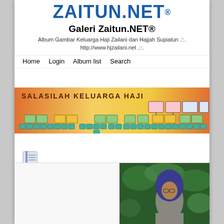[Figure (logo): ZAITUN.NET logo in bold blue uppercase letters with registered trademark symbol]
Galeri Zaitun.NET®
Album Gambar Keluarga Haji Zailani dan Hajjah Supiatun .::. http://www.hjzailani.net .::.
Home   Login   Album list   Search
[Figure (organizational-chart): Salasilah Keluarga Haji - a family tree chart with orange/yellow gradient background showing multiple generations connected by lines, with small portrait photos in boxes]
[Figure (photo): A person wearing a blue hijab photographed outdoors among green plants]